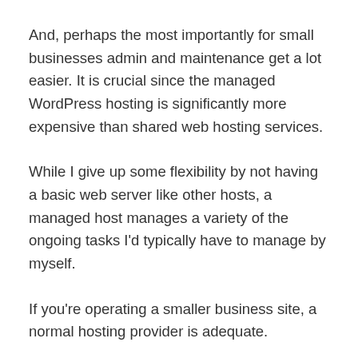And, perhaps the most importantly for small businesses admin and maintenance get a lot easier. It is crucial since the managed WordPress hosting is significantly more expensive than shared web hosting services.
While I give up some flexibility by not having a basic web server like other hosts, a managed host manages a variety of the ongoing tasks I’d typically have to manage by myself.
If you’re operating a smaller business site, a normal hosting provider is adequate.
If you’re building a larger website, a managed